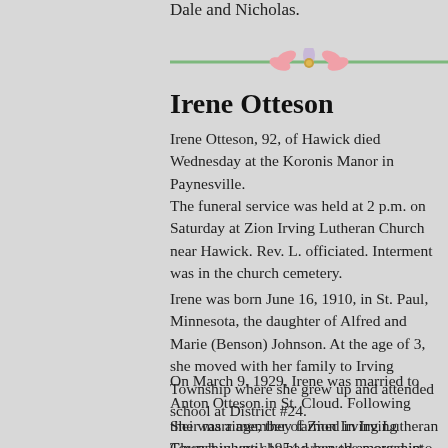Dale and Nicholas.
[Figure (illustration): Decorative horizontal divider with a pink flower/lotus ornament in the center on a green horizontal line]
Irene Otteson
Irene Otteson, 92, of Hawick died Wednesday at the Koronis Manor in Paynesville.
The funeral service was held at 2 p.m. on Saturday at Zion Irving Lutheran Church near Hawick. Rev. L. officiated. Interment was in the church cemetery.
Irene was born June 16, 1910, in St. Paul, Minnesota, the daughter of Alfred and Marie (Benson) Johnson. At the age of 3, she moved with her family to Irving Township where she grew up and attended school at District #24.
On March 9, 1929, Irene was married to Anton Otteson in St. Cloud. Following their marriage, they farmed in Irving Township until 1954 when the moved into Hawick. Since April 1999, Irene has lived at the Koronis Manor in Paynesville.
She was a member of Zion Irving Lutheran Church where she had served as organist for 35 years. Irene enjoyed